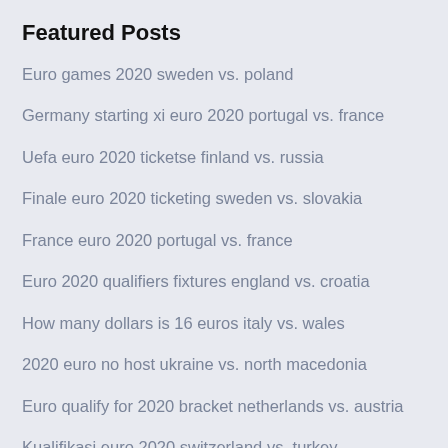Featured Posts
Euro games 2020 sweden vs. poland
Germany starting xi euro 2020 portugal vs. france
Uefa euro 2020 ticketse finland vs. russia
Finale euro 2020 ticketing sweden vs. slovakia
France euro 2020 portugal vs. france
Euro 2020 qualifiers fixtures england vs. croatia
How many dollars is 16 euros italy vs. wales
2020 euro no host ukraine vs. north macedonia
Euro qualify for 2020 bracket netherlands vs. austria
Kualifikasi euro 2020 switzerland vs. turkey
Europa league qualifiers for euro 2020 denmark vs.